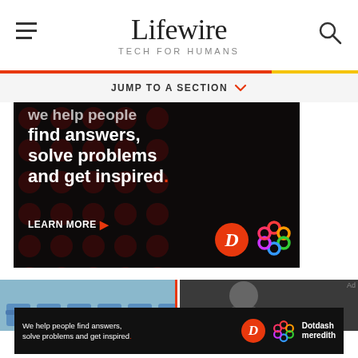Lifewire — TECH FOR HUMANS
JUMP TO A SECTION
[Figure (photo): Dark advertisement image with large bold white text reading 'We help people find answers, solve problems and get inspired.' with a red period. Below is 'LEARN MORE' with a red arrow, and logos for Dotdash (red D circle) and Dotdash Meredith (colorful knot logo). Background has dark red dot pattern.]
[Figure (photo): Two partial thumbnail images side by side: left shows blue theater/stadium seats, right shows a dark portrait photo of a person. An 'Ad' label appears top right.]
[Figure (photo): Bottom banner advertisement: dark background with white text 'We help people find answers, solve problems and get inspired.' with Dotdash D logo and Dotdash meredith branding on the right.]